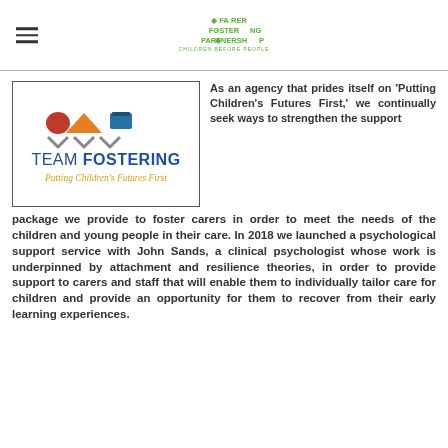Fairer Fostering Partnership — Children Before Profit
[Figure (logo): Team Fostering logo with tagline 'Putting Children's Futures First' inside a border box]
As an agency that prides itself on 'Putting Children's Futures First,' we continually seek ways to strengthen the support package we provide to foster carers in order to meet the needs of the children and young people in their care. In 2018 we launched a psychological support service with John Sands, a clinical psychologist whose work is underpinned by attachment and resilience theories, in order to provide support to carers and staff that will enable them to individually tailor care for children and provide an opportunity for them to recover from their early learning experiences.